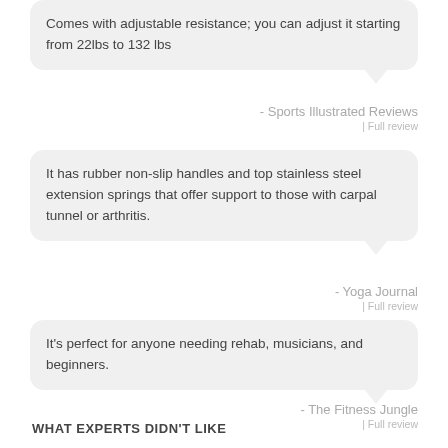Comes with adjustable resistance; you can adjust it starting from 22lbs to 132 lbs
- Sports Illustrated Reviews
| Full review
It has rubber non-slip handles and top stainless steel extension springs that offer support to those with carpal tunnel or arthritis.
- Yoga Journal
| Full review
It's perfect for anyone needing rehab, musicians, and beginners.
- The Fitness Jungle
| Full review
WHAT EXPERTS DIDN'T LIKE